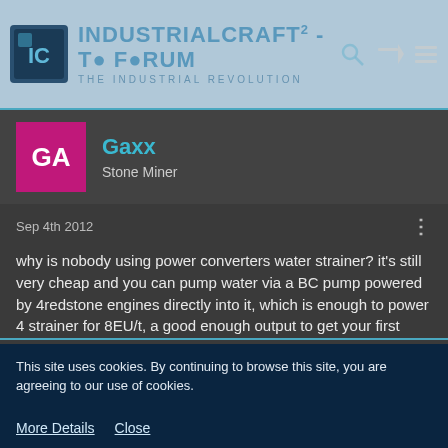IndustrialCraft² - The Forum - The Industrial Revolution
Gaxx
Stone Miner
Sep 4th 2012
why is nobody using power converters water strainer? it's still very cheap and you can pump water via a BC pump powered by 4redstone engines directly into it, which is enough to power 4 strainer for 8EU/t, a good enough output to get your first machines running.
This site uses cookies. By continuing to browse this site, you are agreeing to our use of cookies.
More Details   Close